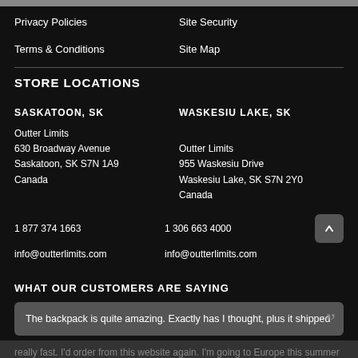Privacy Policies
Site Security
Terms & Conditions
Site Map
STORE LOCATIONS
SASKATOON, SK
WASKESIU LAKE, SK
Outter Limits
630 Broadway Avenue
Saskatoon, SK S7N 1A9
Canada
Outter Limits
955 Waskesiu Drive
Waskesiu Lake, SK S7N 2Y0
Canada
1 877 374 1663
info@outterlimits.com
1 306 663 4000
info@outterlimits.com
WHAT OUR CUSTOMERS ARE SAYING
The backpack is quite amazing. Exactly has I thought, plus it shipped really fast. I'd order from this website again. I'm going to Europe this summer for 3 weeks and the 40L is exactly what I need. The fact that it
SHOW SIDEBAR +